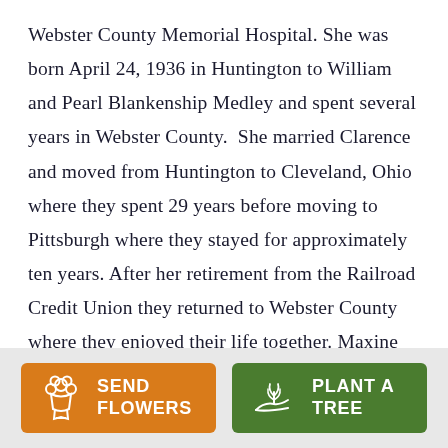Webster County Memorial Hospital. She was born April 24, 1936 in Huntington to William and Pearl Blankenship Medley and spent several years in Webster County.  She married Clarence and moved from Huntington to Cleveland, Ohio where they spent 29 years before moving to Pittsburgh where they stayed for approximately ten years. After her retirement from the Railroad Credit Union they returned to Webster County where they enjoyed their life together. Maxine enjoyed attending Upperglade Holiness Church, cooking, sewing, and singing. She
[Figure (other): Two buttons at the bottom: 'SEND FLOWERS' (orange, with flower icon) and 'PLANT A TREE' (green, with plant/hand icon)]